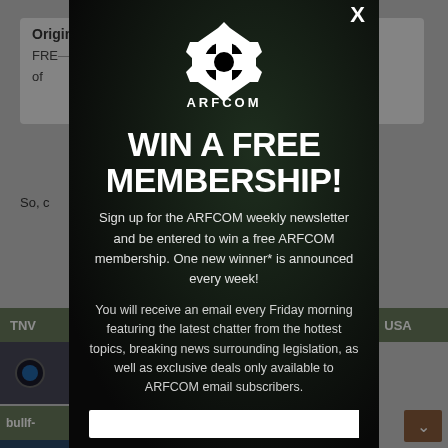[Figure (screenshot): Background webpage content showing a forum post with 'Originally Posted By TNVC:' header, partially obscured by modal overlay. Includes olive-green navigation bars, thumbnail images, and page elements.]
[Figure (infographic): ARFCOM modal popup dialog on dark background. Contains ARFCOM gear logo, headline 'WIN A FREE MEMBERSHIP!', subscription offer text, and email input field. Close button (X) in top right corner.]